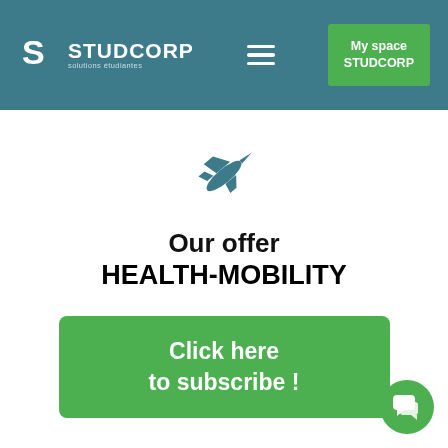STUDCORP solutions étudiantes | My space STUDCORP
[Figure (illustration): Airplane icon in teal/dark teal color, pointing upper-right direction]
Our offer HEALTH-MOBILITY
Click here to subscribe !